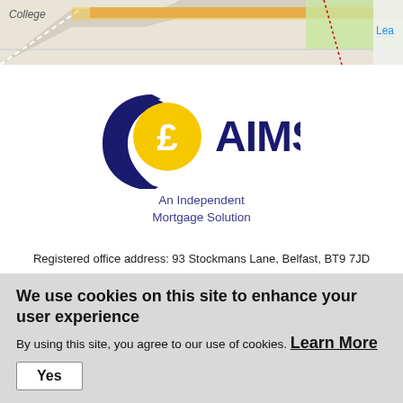[Figure (map): Street map snippet showing 'College' label and road markings, with partial 'Lea' text on the right edge]
[Figure (logo): AIMS logo - A dark navy blue crescent/C shape with a gold/yellow circle containing a white pound sterling sign, and the text 'AIMS' in large dark navy letters]
An Independent Mortgage Solution
Registered office address: 93 Stockmans Lane, Belfast, BT9 7JD
Registered as a Limited Company in Northern Ireland NI614151
An Independent Mortgage Solution (AIMS) is authorised and regulated by the Financial Conduct Authority.
We use cookies on this site to enhance your user experience
By using this site, you agree to our use of cookies. Learn More
Yes